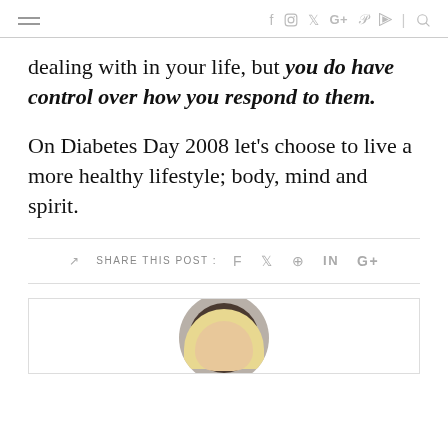navigation bar with hamburger menu and social icons: f, instagram, twitter, G+, pinterest, RSS, search
dealing with in your life, but you do have control over how you respond to them.
On Diabetes Day 2008 let's choose to live a more healthy lifestyle; body, mind and spirit.
SHARE THIS POST : f twitter pinterest in g+
[Figure (photo): Author photo showing a person with blonde hair in a circular crop at the bottom of the page]